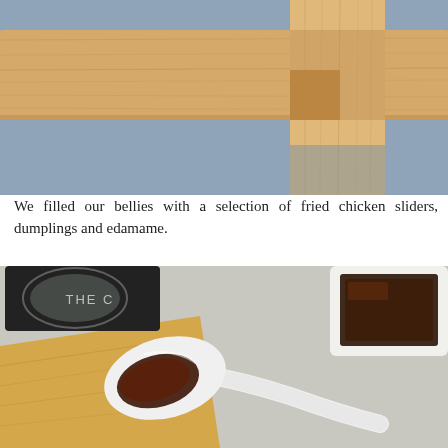[Figure (photo): Close-up of wooden beams or lumber pieces intersecting, showing wood grain texture. Background is grayish-blue.]
We filled our bellies with a selection of fried chicken sliders, dumplings and edamame.
[Figure (photo): Overhead view of a white ceramic spoon filled with dark soy sauce or dipping sauce, placed on a wooden board. A small white rectangular dish with dark sauce is visible in the upper right corner. A black coaster with text 'THE C...' is visible in the upper left.]